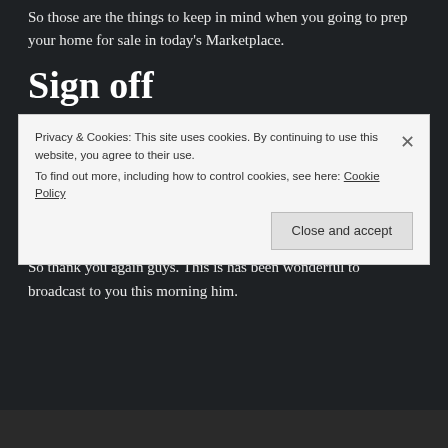So those are the things to keep in mind when you going to prep your home for sale in today's Marketplace.
Sign off
If you love this, please subscribe to our Channel. Please hit the notification bell. Hit us up on Facebook, and you're always welcome to reach out to us in the comment box, through Facebook Messenger, or personally, my numbers in the description.
So thank you again guys. This is has been wonderful to broadcast to you this morning him.
Privacy & Cookies: This site uses cookies. By continuing to use this website, you agree to their use. To find out more, including how to control cookies, see here: Cookie Policy